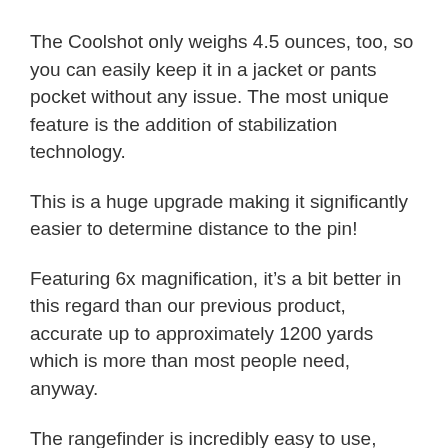The Coolshot only weighs 4.5 ounces, too, so you can easily keep it in a jacket or pants pocket without any issue. The most unique feature is the addition of stabilization technology.
This is a huge upgrade making it significantly easier to determine distance to the pin!
Featuring 6x magnification, it’s a bit better in this regard than our previous product, accurate up to approximately 1200 yards which is more than most people need, anyway.
The rangefinder is incredibly easy to use, even if you’re completely new to using one. Simply point it at your target and push the back button which turns the unit on.